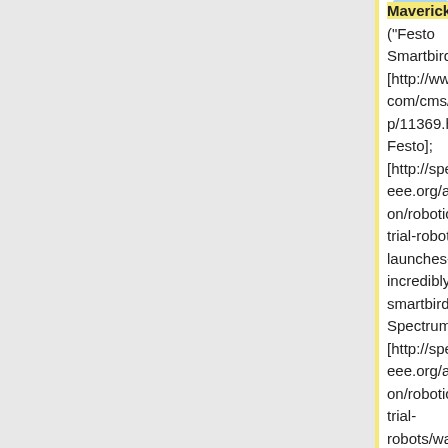Maverick]; ("Festo Smartbird:"' [http://www.festo.com/cms/en_corp/11369.htm Festo]; [http://spectrum.ieee.org/automaton/robotics/industrial-robots/festo-launches-incredibly-lifelike-smartbird IEEE Spectrum]; [http://spectrum.ieee.org/automaton/robotics/industrial-robots/watch-festos-smartbird-soar-over-tadglobal?